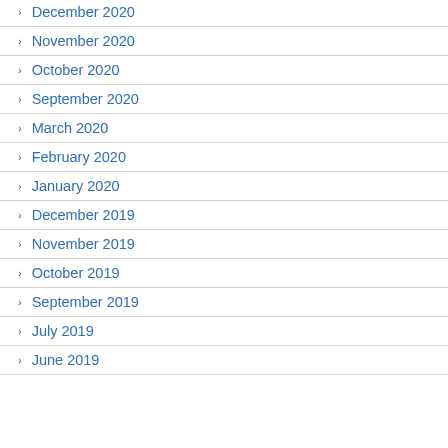December 2020
November 2020
October 2020
September 2020
March 2020
February 2020
January 2020
December 2019
November 2019
October 2019
September 2019
July 2019
June 2019